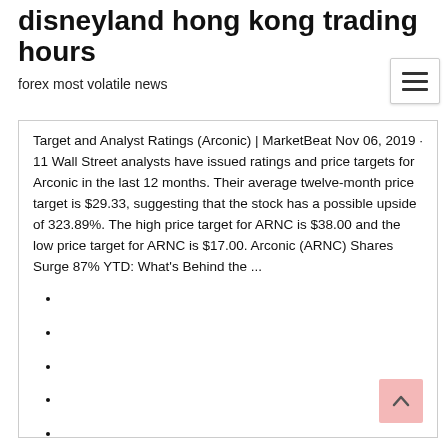disneyland hong kong trading hours
forex most volatile news
Target and Analyst Ratings (Arconic) | MarketBeat Nov 06, 2019 · 11 Wall Street analysts have issued ratings and price targets for Arconic in the last 12 months. Their average twelve-month price target is $29.33, suggesting that the stock has a possible upside of 323.89%. The high price target for ARNC is $38.00 and the low price target for ARNC is $17.00. Arconic (ARNC) Shares Surge 87% YTD: What&#39;s Behind the ...